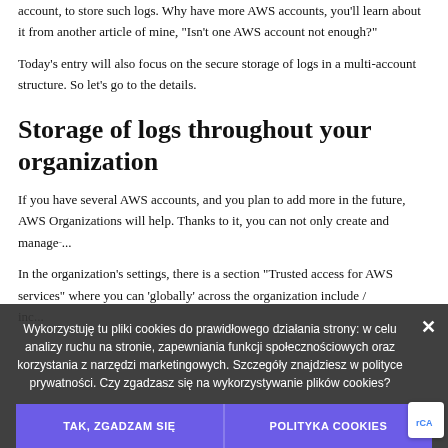account, to store such logs. Why have more AWS accounts, you'll learn about it from another article of mine, "Isn't one AWS account not enough?"
Today's entry will also focus on the secure storage of logs in a multi-account structure. So let's go to the details.
Storage of logs throughout your organization
If you have several AWS accounts, and you plan to add more in the future, AWS Organizations will help. Thanks to it, you can not only create and manage... services.
In the organization's settings, there is a section "Trusted access for AWS services" where you can 'globally' across the organization include / inc...
Wykorzystuję tu pliki cookies do prawidłowego działania strony: w celu analizy ruchu na stronie, zapewniania funkcji społecznościowych oraz korzystania z narzędzi marketingowych. Szczegóły znajdziesz w polityce prywatności. Czy zgadzasz się na wykorzystywanie plików cookies?
TAK, ZGADZAM SIĘ
POLITYKA COOKIES